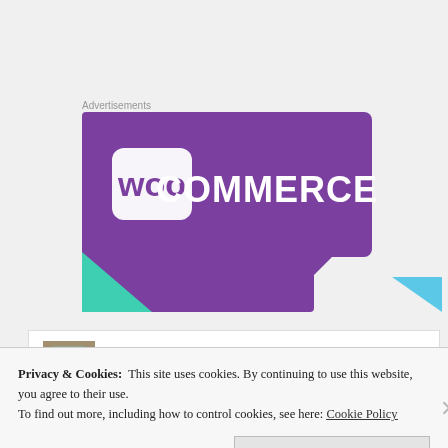Advertisements
[Figure (logo): WooCommerce advertisement banner with purple and white geometric design, teal triangle at lower left, light blue triangle at lower right]
The Perpetual Vagabond    October 10, 2012 at 2:50
Privacy & Cookies:  This site uses cookies. By continuing to use this website, you agree to their use.
To find out more, including how to control cookies, see here: Cookie Policy
Close and accept